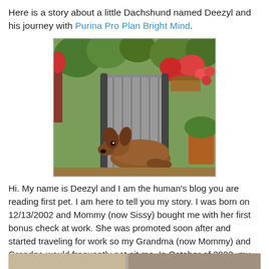Here is a story about a little Dachshund named Deezyl and his journey with Purina Pro Plan Bright Mind.
[Figure (photo): A Dachshund dog resting on a patio lounge chair surrounded by colorful hanging flower baskets and green plants outdoors.]
Hi. My name is Deezyl and I am the human's blog you are reading first pet. I am here to tell you my story. I was born on 12/13/2002 and Mommy (now Sissy) bought me with her first bonus check at work. She was promoted soon after and started traveling for work so my Grandma (now Mommy) and Grandpa would frequently pet-sit me. In October of 2003, my Grandpa passed away suddenly and Grandma was very sad. So Mommy made the hard decision of letting Grandma adopt me since I made her happy. Sissy still visits me all the time and she is one of my favorite humans.
[Figure (photo): Partial view of another image at the bottom of the page (cropped).]